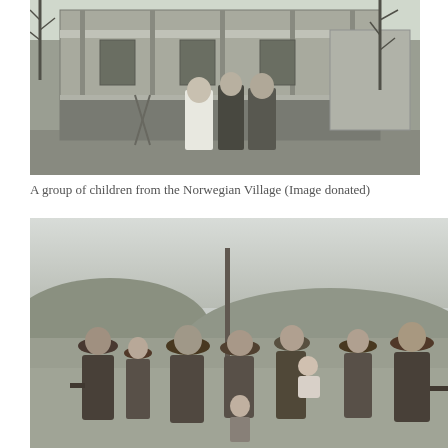[Figure (photo): Black and white historical photograph of a group of children standing in front of a two-story house with a porch, surrounded by bare trees.]
A group of children from the Norwegian Village (Image donated)
[Figure (photo): Black and white historical photograph of a group of adults and children outdoors in a field, several wearing wide-brimmed hats, one person holding a baby.]